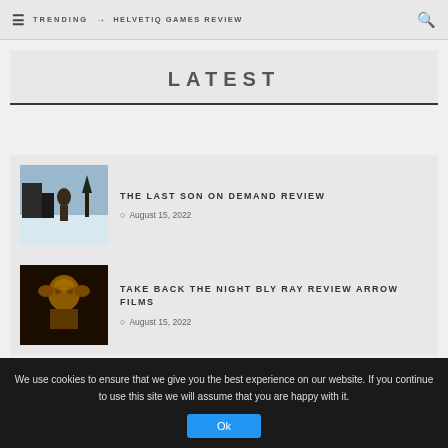TRENDING → HELVETIQ GAMES REVIEW
LATEST
THE LAST SON ON DEMAND REVIEW
August 15, 2022
TAKE BACK THE NIGHT BLY RAY REVIEW ARROW FILMS
August 15, 2022
We use cookies to ensure that we give you the best experience on our website. If you continue to use this site we will assume that you are happy with it.